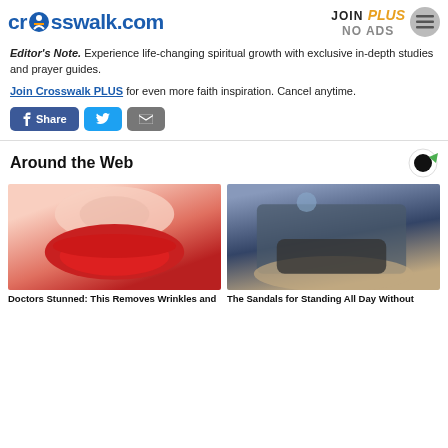crosswalk.com | JOIN PLUS NO ADS
Editor's Note. Experience life-changing spiritual growth with exclusive in-depth studies and prayer guides.
Join Crosswalk PLUS for even more faith inspiration. Cancel anytime.
[Figure (screenshot): Social share buttons: Share (Facebook), Twitter, Email]
Around the Web
[Figure (photo): Close-up of a woman's face with red lipstick and sparkly skin texture]
Doctors Stunned: This Removes Wrinkles and
[Figure (photo): Close-up of sandals on a woman's feet with ankle straps]
The Sandals for Standing All Day Without